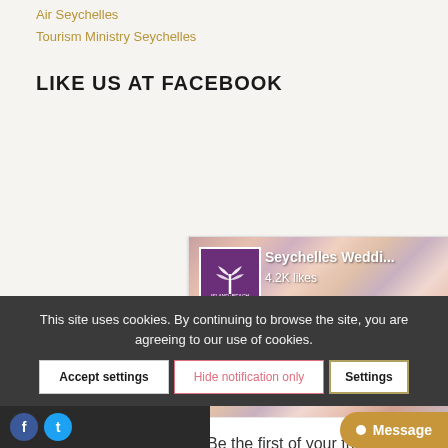Air Seychelles
Tourism Ministry Seychelles
LIKE US AT FACEBOOK
[Figure (screenshot): Facebook like widget showing 'Seychelles Weddi...' page with 4.2K likes, Island+Beach logo, wedding floral photo background, Liked button, and 'Be the first of your friends to like this' text]
This site uses cookies. By continuing to browse the site, you are agreeing to our use of cookies.
Accept settings | Hide notification only | Settings
Message